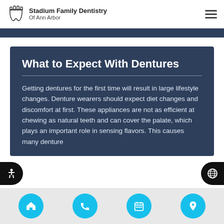Stadium Family Dentistry Of Ann Arbor
What to Expect With Dentures
Getting dentures for the first time will result in large lifestyle changes. Denture wearers should expect diet changes and discomfort at first. These appliances are not as efficient at chewing as natural teeth and can cover the palate, which plays an important role in sensing flavors. This causes many denture